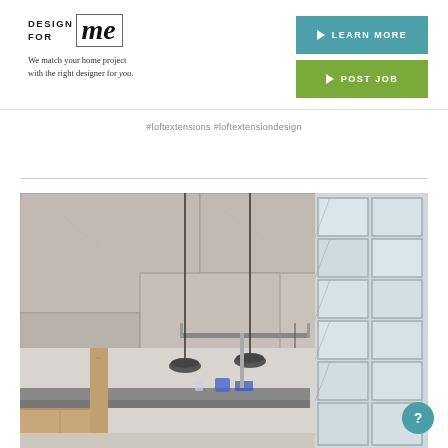[Figure (logo): Design For Me logo with stylized 'me' in italic serif font inside a box, with tagline 'We match your home project with the right designer for you.']
LEARN MORE
POST JOB
#loftextensions #loftextensiondesign
[Figure (photo): Interior photo of a loft space with exposed concrete ceiling panels, industrial pendant lights, gray kitchen counter, wooden cabinets, and geometric glass block wall on the right side.]